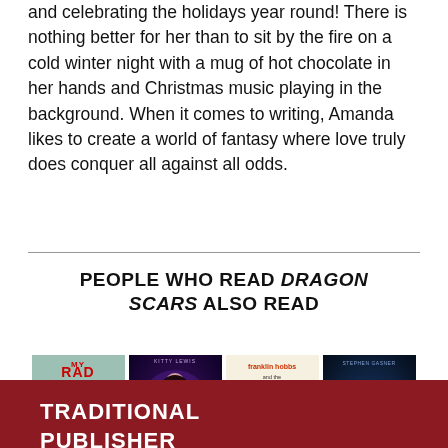and celebrating the holidays year round! There is nothing better for her than to sit by the fire on a cold winter night with a mug of hot chocolate in her hands and Christmas music playing in the background. When it comes to writing, Amanda likes to create a world of fantasy where love truly does conquer all against all odds.
PEOPLE WHO READ DRAGON SCARS ALSO READ
[Figure (illustration): Four book covers displayed in a row: My Rad Career, Wyld Magic, Franklin Hobbs and the Quagmire of Darkness, and Gideon Versus the Rise of Cool]
TRADITIONAL PUBLISHER